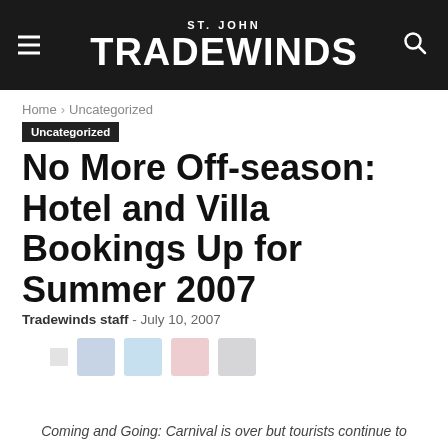ST. JOHN TRADEWINDS
Home › Uncategorized
Uncategorized
No More Off-season: Hotel and Villa Bookings Up for Summer 2007
Tradewinds staff - July 10, 2007
[Figure (other): Social media share icons row: small circular/square icons for various platforms]
Coming and Going: Carnival is over but tourists continue to